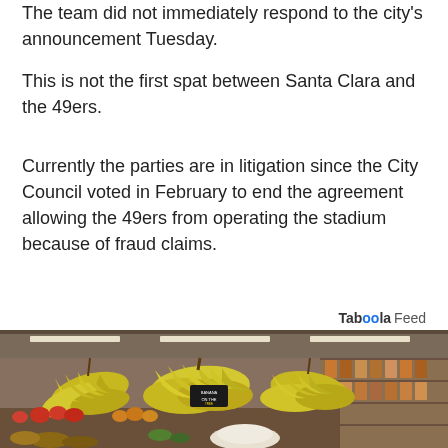The team did not immediately respond to the city's announcement Tuesday.
This is not the first spat between Santa Clara and the 49ers.
Currently the parties are in litigation since the City Council voted in February to end the agreement allowing the 49ers from operating the stadium because of fraud claims.
Taboola Feed
[Figure (photo): Interior of a grocery store produce section showing bananas hanging and various fruits displayed on stands, with store shelving and lighting visible in the background.]